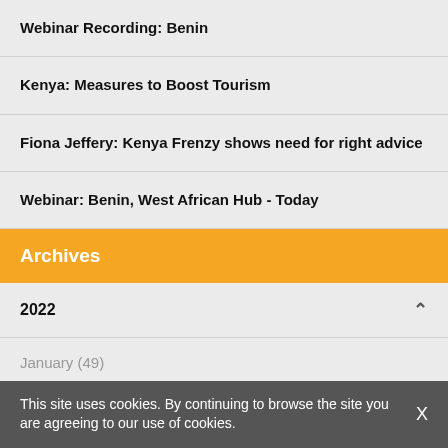Webinar Recording: Benin
Kenya: Measures to Boost Tourism
Fiona Jeffery: Kenya Frenzy shows need for right advice
Webinar: Benin, West African Hub - Today
Archives
2022
January (49)
This site uses cookies. By continuing to browse the site you are agreeing to our use of cookies.